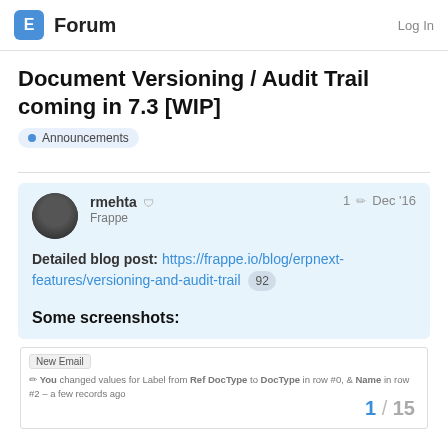E Forum | Log In
Document Versioning / Audit Trail coming in 7.3 [WIP]
Announcements
rmehta | Frappe | 1 edit | Dec '16
Detailed blog post: https://frappe.io/blog/erpnext-features/versioning-and-audit-trail 92
Some screenshots:
[Figure (screenshot): Forum post screenshot showing audit trail feature with New Email badge and change log text: You changed values for Label from Ref DocType to DocType in row #0, Name in row #2 - a few records ago]
1 / 15